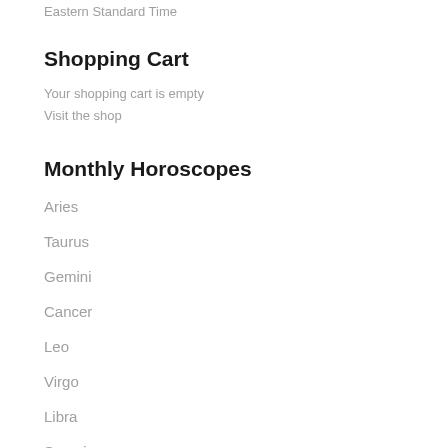Eastern Standard Time
Shopping Cart
Your shopping cart is empty
Visit the shop
Monthly Horoscopes
Aries
Taurus
Gemini
Cancer
Leo
Virgo
Libra
Scorpio
Sagittarius